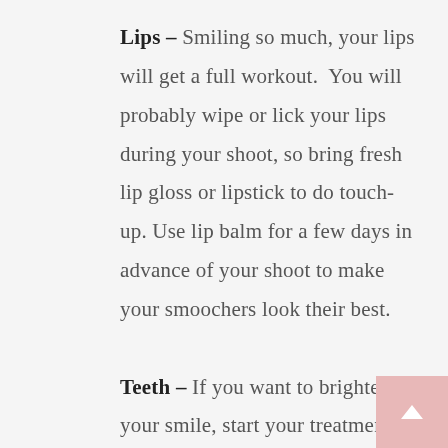Lips – Smiling so much, your lips will get a full workout.  You will probably wipe or lick your lips during your shoot, so bring fresh lip gloss or lipstick to do touch-up. Use lip balm for a few days in advance of your shoot to make your smoochers look their best.
Teeth – If you want to brighten your smile, start your treatments